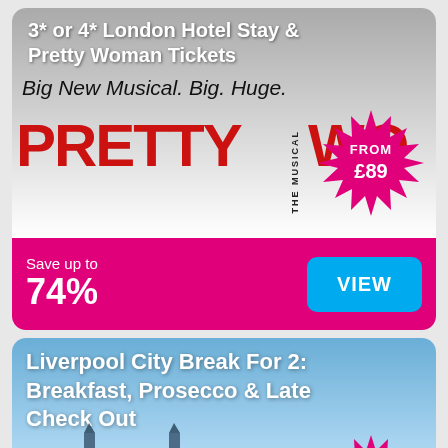3* or 4* London Hotel Stay & Pretty Woman Tickets
[Figure (illustration): Pretty Woman The Musical promotional image with red bold text 'PRETTY WOMAN THE MUSICAL', cursive script 'Big New Musical. Big. Huge.' on grey/white background, with pink starburst badge showing FROM £89]
Save up to 74%
VIEW
Liverpool City Break For 2: Breakfast, Prosecco & Late Check Out
[Figure (photo): Liverpool city skyline with Liver Building towers against blue sky, pink starburst badge in bottom right corner]